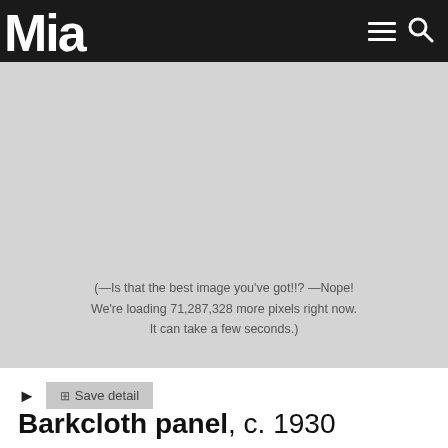Mia
[Figure (photo): Large gray image placeholder area showing a loading message. The artwork image is loading.]
(—Is that the best image you've got!!? —Nope! We're loading 71,287,328 more pixels right now. It can take a few seconds.)
▶  ⊠ Save detail
Barkcloth panel, c. 1930